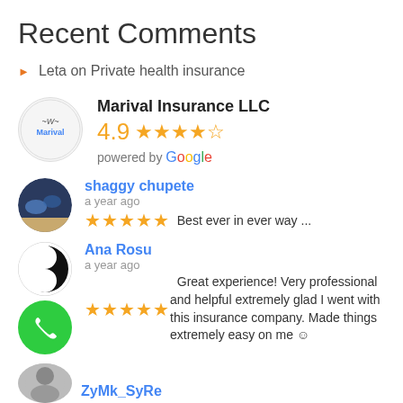Recent Comments
Leta on Private health insurance
[Figure (logo): Marival Insurance LLC logo with business rating 4.9 stars powered by Google]
[Figure (photo): shaggy chupete avatar photo, a year ago, 5 stars, Best ever in ever way ...]
[Figure (photo): Ana Rosu avatar yin-yang icon, a year ago, 5 stars, Great experience! Very professional and helpful extremely glad I went with this insurance company. Made things extremely easy on me]
[Figure (photo): ZyMk_SyRe avatar photo]
ZyMk_SyRe